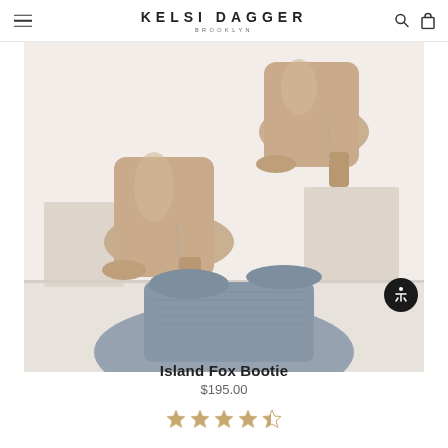KELSI DAGGER BROOKLYN
[Figure (photo): Product photo of tan/nude patent leather ankle boots (Island Fox Bootie) worn on a person's feet with blue denim jeans, posed against a white background/shelf setting]
Island Fox Bootie
$195.00
[Figure (other): Star rating showing approximately 4 out of 5 stars (4 filled stars and 1 half star)]